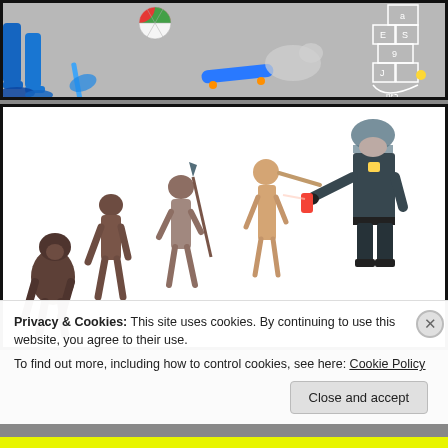[Figure (photo): Top portion of a webpage showing a colorful edited photo: children playing on a grey asphalt background with colorful added elements including blue-painted legs/figure on left, a beach ball, a blue skateboard, and a hopscotch grid drawn in white chalk on the top right.]
[Figure (illustration): Evolution of man illustration showing progression from ape/gorilla through several hominid stages to modern human, with the final modern human having an elongated Pinocchio-like nose being pepper-sprayed by a riot-gear police officer on the far right.]
Privacy & Cookies: This site uses cookies. By continuing to use this website, you agree to their use.
To find out more, including how to control cookies, see here: Cookie Policy